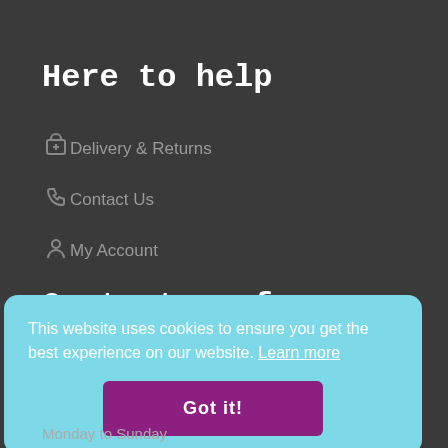Here to help
Delivery & Returns
Contact Us
My Account
Contact us for any information
This website uses cookies to ensure you get the best experience on our website. Learn more
Got it!
Monday to Sunday